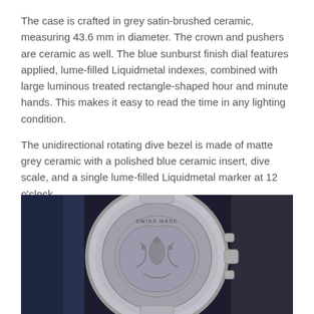The case is crafted in grey satin-brushed ceramic, measuring 43.6 mm in diameter. The crown and pushers are ceramic as well. The blue sunburst finish dial features applied, lume-filled Liquidmetal indexes, combined with large luminous treated rectangle-shaped hour and minute hands. This makes it easy to read the time in any lighting condition.
The unidirectional rotating dive bezel is made of matte grey ceramic with a polished blue ceramic insert, dive scale, and a single lume-filled Liquidmetal marker at 12 o'clock.
[Figure (photo): Close-up photo of the back of a luxury Swiss Made watch with an engraved caseback showing decorative motifs, held by a gloved hand against a dark blue background. The caseback reads 'SWISS MADE'.]